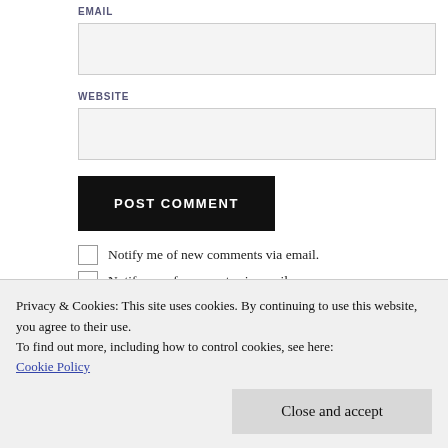EMAIL
WEBSITE
POST COMMENT
Notify me of new comments via email.
Notify me of new posts via email.
Privacy & Cookies: This site uses cookies. By continuing to use this website, you agree to their use. To find out more, including how to control cookies, see here: Cookie Policy
Close and accept